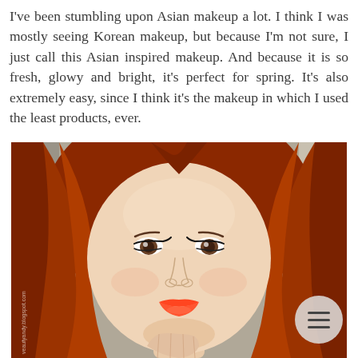I've been stumbling upon Asian makeup a lot. I think I was mostly seeing Korean makeup, but because I'm not sure, I just call this Asian inspired makeup. And because it is so fresh, glowy and bright, it's perfect for spring. It's also extremely easy, since I think it's the makeup in which I used the least products, ever.
[Figure (photo): Close-up portrait of a young woman with long red hair, subtle eye makeup with winged eyeliner, and bright orange-red lipstick. She is resting her chin on her hand and looking directly at the camera. A circular menu button icon is overlaid in the lower right corner of the photo.]